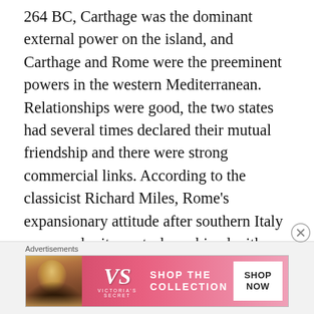264 BC, Carthage was the dominant external power on the island, and Carthage and Rome were the preeminent powers in the western Mediterranean. Relationships were good, the two states had several times declared their mutual friendship and there were strong commercial links. According to the classicist Richard Miles, Rome's expansionary attitude after southern Italy came under its control combined with Carthage's proprietary approach to Sicily caused the two powers to stumble into war more by accident than design. The immediate cause of the war was the issue of control of the independent Sicilian city state of Messana (modern Messina). In 264 BC
[Figure (other): Victoria's Secret advertisement banner with a model photo, VS logo, 'SHOP THE COLLECTION' text, and 'SHOP NOW' button on a pink/red gradient background]